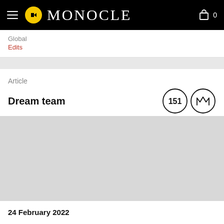MONOCLE
Global
Edits
Article
Dream team
[Figure (photo): Gray placeholder image area for article image]
24 February 2022